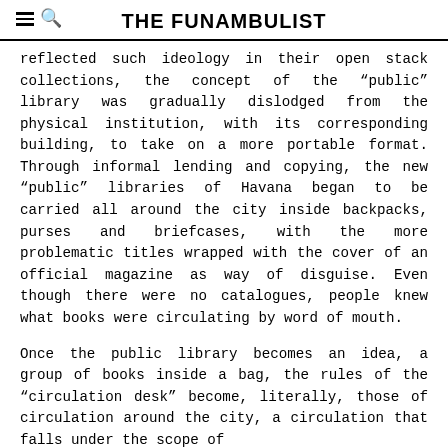THE FUNAMBULIST
reflected such ideology in their open stack collections, the concept of the “public” library was gradually dislodged from the physical institution, with its corresponding building, to take on a more portable format. Through informal lending and copying, the new “public” libraries of Havana began to be carried all around the city inside backpacks, purses and briefcases, with the more problematic titles wrapped with the cover of an official magazine as way of disguise. Even though there were no catalogues, people knew what books were circulating by word of mouth.
Once the public library becomes an idea, a group of books inside a bag, the rules of the “circulation desk” become, literally, those of circulation around the city, a circulation that falls under the scope of